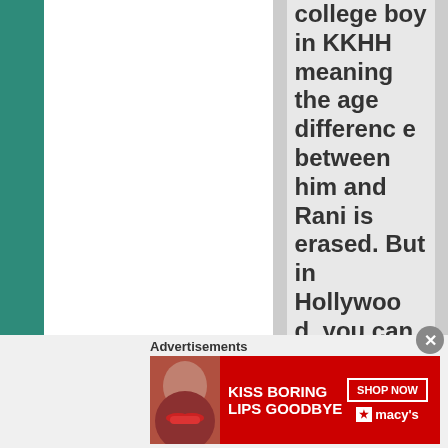college boy in KKHH meaning the age difference between him and Rani is erased. But in Hollywood, you can be an adult man without
Advertisements
[Figure (photo): Advertisement banner for Macy's lipstick/beauty product with text 'KISS BORING LIPS GOODBYE' and 'SHOP NOW' button and Macy's star logo on red background with woman's face]